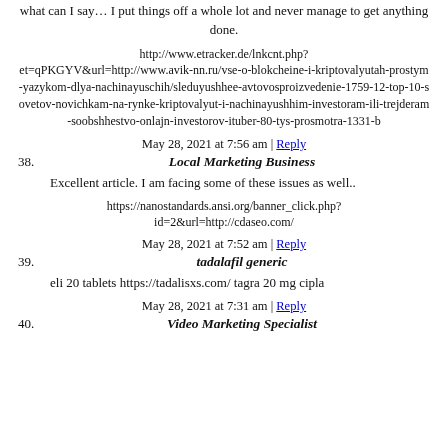what can I say… I put things off a whole lot and never manage to get anything done.
http://www.etracker.de/lnkcnt.php?et=qPKGYV&url=http://www.avik-nn.ru/vse-o-blokcheine-i-kriptovalyutah-prostym-yazykom-dlya-nachinayuschih/sleduyushhee-avtovosproizvedenie-1759-12-top-10-sovetov-novichkam-na-rynke-kriptovalyut-i-nachinayushhim-investoram-ili-trejderam-soobshhestvo-onlajn-investorov-ituber-80-tys-prosmotra-1331-b
May 28, 2021 at 7:56 am | Reply
38. Local Marketing Business
Excellent article. I am facing some of these issues as well..
https://nanostandards.ansi.org/banner_click.php?id=2&url=http://cdaseo.com/
May 28, 2021 at 7:52 am | Reply
39. tadalafil generic
eli 20 tablets https://tadalisxs.com/ tagra 20 mg cipla
May 28, 2021 at 7:31 am | Reply
40. Video Marketing Specialist